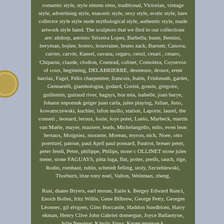romantic style, style simms sims, traditional, Victorian, vintage style, advertising style, masonic style, sexy style, erotic style, bare collector style style nude mythological style, authentic style, made artwork style hand. The sculptors that we find in our collections are: altdorp, antónio Teixeira Lopes, Barbella, baste, Bernini, beryman, bojiee, botero, bouvraine, bruno zack, Burnett, Canova, carrier, carvin, Kassel, cavana, cegaro, cenzl, cesari , cesaro, Chiparus, claude, clodion, Coenrad, colinet, Comolera, Coysevox of coux, beginning, DELABRIERRE, desmeure, drouot, ernst barriaz, Fagel, Félix charpentier, francois, fratin, Frishmuth, gardet, Gennarelli, giambologna, godard, Gorini, gossin, gregoire, guillemin, guiraud river, hagays, hos mia, isabelle, joan barye, Johann nepomuk geiger juan carla, jules playing, Julian, Juno, kowamczewski, kuchler, lafon mollo, station, Laporte, laurel, the conneti , leonard, leroux, louie, loys potet, Luelo, Marbeck, martin van Maële, mayer, maziere, leads, Michelangello, milo, even leon bertaux, Moigniez, morante, Moreau, myron, nick, Noee, otto poerttzel, patoue, paul April paul ponsard, Pautrot, breuer peter, peter fendi, Petre, philippe, Philips, stone c OLLINET stone jules mene, stone FAGUAYS, pitta luga, flat, potter, preifs, rauch, rige, Rodin, rombaut, rubin, schmidt felling, stoly, Szczeblewski, Thorburn, titze tony noel, Valton, Weinman, zheng.
Rust, duane Bryers, earl moran, Earle k. Bergey Edward Runci, Enoch Bolles, fritz Willis, Gene Bilbrew, George Petty, Georges Léonnec, gil elvgren, Gino Boccasile, Haddon Sundblom, Harry ekman, Henry Clive John Gabriel domergue, Joyce Ballantyne, Julie Newmar, Károly Józsa, Knute munson k.